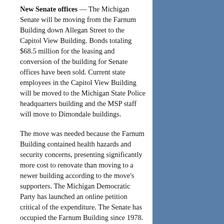New Senate offices — The Michigan Senate will be moving from the Farnum Building down Allegan Street to the Capitol View Building. Bonds totaling $68.5 million for the leasing and conversion of the building for Senate offices have been sold. Current state employees in the Capitol View Building will be moved to the Michigan State Police headquarters building and the MSP staff will move to Dimondale buildings.
The move was needed because the Farnum Building contained health hazards and security concerns, presenting significantly more cost to renovate than moving to a newer building according to the move's supporters. The Michigan Democratic Party has launched an online petition critical of the expenditure. The Senate has occupied the Farnum Building since 1978.
Campaign finance — According to the Michigan Campaign Finance Network, the top 150 political action committees brought in $68 million in the two years that comprised the 2014 election cycle, a new record that topped the $51 million for the 2006 cycle. The MCFN noted the 2014 cycle was the first in which super political action committees, which can accept funds from corporate and union